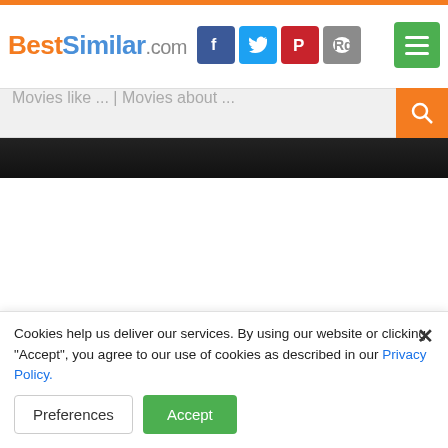BestSimilar.com
Movies like ... | Movies about ...
[Figure (photo): Dark banner image strip at top of content area]
Cookies help us deliver our services. By using our website or clicking "Accept", you agree to our use of cookies as described in our Privacy Policy.
Preferences  Accept